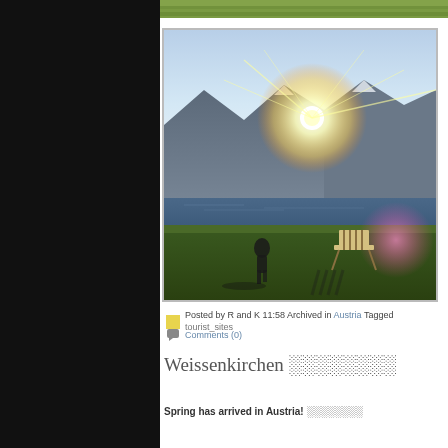[Figure (photo): Top edge of a photo showing green grass/meadow, partially cropped at top of page]
[Figure (photo): Outdoor photo of a person standing on green grass by a lake or river with mountains in the background and a bright sun with lens flare. A striped beach chair is visible to the right. Evening or sunset lighting.]
Posted by R and K 11:58 Archived in Austria Tagged tourist_sites
Comments (0)
Weissenkirchen ░░░░░░░░
Spring has arrived in Austria! ░░░░░░░░